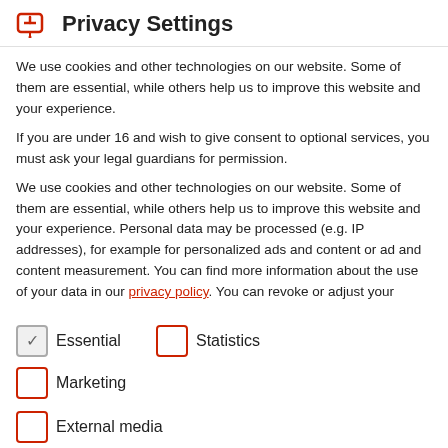Privacy Settings
We use cookies and other technologies on our website. Some of them are essential, while others help us to improve this website and your experience.
If you are under 16 and wish to give consent to optional services, you must ask your legal guardians for permission.
We use cookies and other technologies on our website. Some of them are essential, while others help us to improve this website and your experience. Personal data may be processed (e.g. IP addresses), for example for personalized ads and content or ad and content measurement. You can find more information about the use of your data in our privacy policy. You can revoke or adjust your
Essential
Statistics
Marketing
External media
to help share energy-efficient and secure airport operations.
Our products can be easily integrated and they offer a high degree of flexibility. This allows ongoing